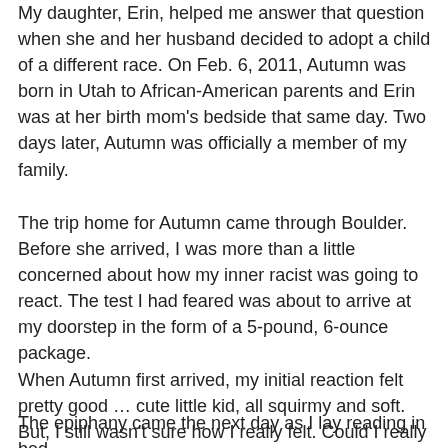My daughter, Erin, helped me answer that question when she and her husband decided to adopt a child of a different race. On Feb. 6, 2011, Autumn was born in Utah to African-American parents and Erin was at her birth mom's bedside that same day. Two days later, Autumn was officially a member of my family.
The trip home for Autumn came through Boulder. Before she arrived, I was more than a little concerned about how my inner racist was going to react. The test I had feared was about to arrive at my doorstep in the form of a 5-pound, 6-ounce package. When Autumn first arrived, my initial reaction felt pretty good … cute little kid, all squirmy and soft. But, I still wasn't sure how I really felt. Could I really give her the simple and unconditional love of a grandfather for a grandchild that I felt for the two grandchildren I already had?
The epiphany came the next day as I lay reading in bed.